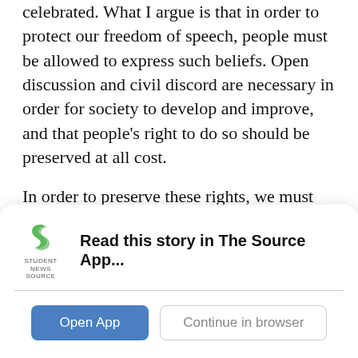celebrated. What I argue is that in order to protect our freedom of speech, people must be allowed to express such beliefs. Open discussion and civil discord are necessary in order for society to develop and improve, and that people's right to do so should be preserved at all cost.
In order to preserve these rights, we must exercise them. Do not stand for policies that threaten the freedom of speech in any way. You have a right to protest and dispute these policies because of the very freedoms they aim to weaken. We must not allow these rights to fall to any threat, no matter how well-intentioned it may seem.
[Figure (logo): Student News Source logo — green S-shaped icon above 'STUDENT NEWS SOURCE' text]
Read this story in The Source App...
Open App
Continue in browser